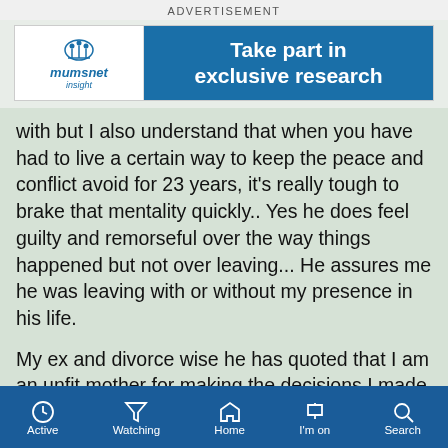ADVERTISEMENT
[Figure (screenshot): Mumsnet Insight advertisement banner: logo on left with spider/crown icon and 'mumsnet insight' text, blue panel on right reading 'Take part in exclusive research']
with but I also understand that when you have had to live a certain way to keep the peace and conflict avoid for 23 years, it's really tough to brake that mentality quickly.. Yes he does feel guilty and remorseful over the way things happened but not over leaving... He assures me he was leaving with or without my presence in his life.
My ex and divorce wise he has quoted that I am an unfit mother for making the decisions I made (affair/baby etc) luckily he came to his senses and dropped the divorce under those terms once he calmed down. In the end he would fight me for custody and although he has no strong
Active   Watching   Home   I'm on   Search